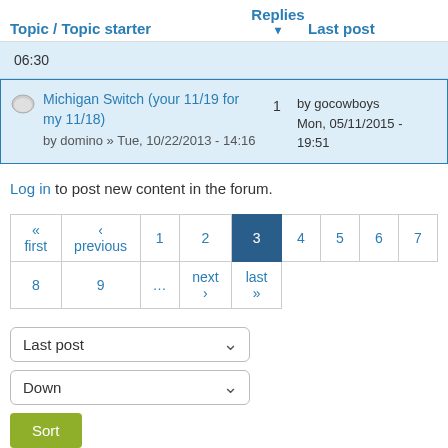| Topic / Topic starter | Replies ▾ | Last post |
| --- | --- | --- |
| 06:30 |  |  |
| Michigan Switch (your 11/19 for my 11/18)
by domino » Tue, 10/22/2013 - 14:16 | 1 | by gocowboys
Mon, 05/11/2015 - 19:51 |
Log in to post new content in the forum.
« first ‹ previous 1 2 3 4 5 6 7
8 9 … next › last »
Last post (dropdown) Down (dropdown) Sort (button)